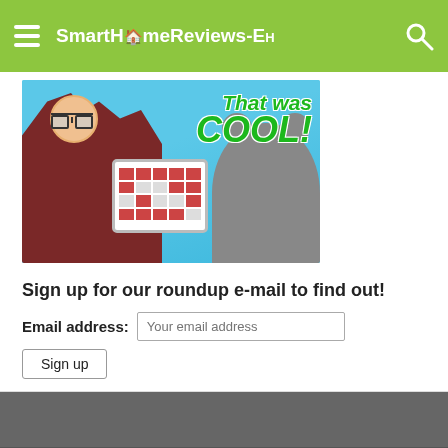SmartHomeReviews-Eh
[Figure (photo): YouTube thumbnail showing a person pointing at a tablet device with a dog, with text 'That was COOL!']
Sign up for our roundup e-mail to find out!
Email address: [Your email address input] Sign up button
APPLE HOME   AMAZON ALEXA   ABOUT US
Copyright © 2015 Flex Mag Theme. Theme by MVP Themes, powered by Wordpress.